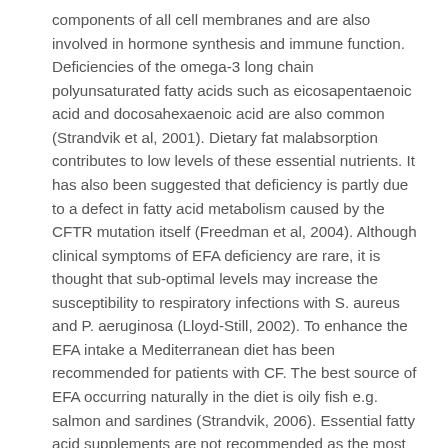components of all cell membranes and are also involved in hormone synthesis and immune function. Deficiencies of the omega-3 long chain polyunsaturated fatty acids such as eicosapentaenoic acid and docosahexaenoic acid are also common (Strandvik et al, 2001). Dietary fat malabsorption contributes to low levels of these essential nutrients. It has also been suggested that deficiency is partly due to a defect in fatty acid metabolism caused by the CFTR mutation itself (Freedman et al, 2004). Although clinical symptoms of EFA deficiency are rare, it is thought that sub-optimal levels may increase the susceptibility to respiratory infections with S. aureus and P. aeruginosa (Lloyd-Still, 2002). To enhance the EFA intake a Mediterranean diet has been recommended for patients with CF. The best source of EFA occurring naturally in the diet is oily fish e.g. salmon and sardines (Strandvik, 2006). Essential fatty acid supplements are not recommended as the most effective dose is unknown, and providing the incorrect balance of the types of EFA may be harmful ( Beckles-Willson et al, 2007;).